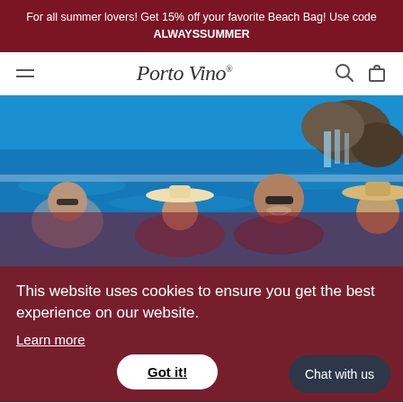For all summer lovers! Get 15% off your favorite Beach Bag! Use code ALWAYSSUMMER
[Figure (logo): Porto Vino logo with hamburger menu, search icon, and bag icon navigation]
[Figure (photo): People relaxing in a swimming pool with a waterfall feature in the background]
This website uses cookies to ensure you get the best experience on our website.
Learn more
July 07, 2021
Best Pool Floats (that hold your glass)
Got it!
Chat with us